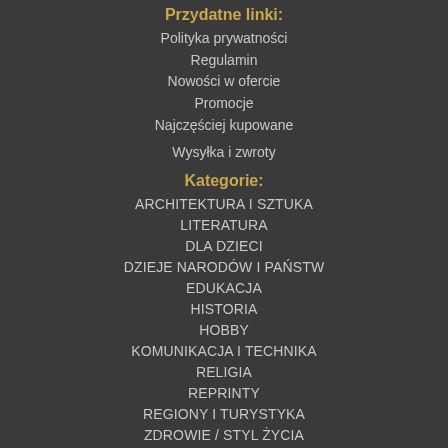Przydatne linki:
Polityka prywatności
Regulamin
Nowości w ofercie
Promocje
Najczęściej kupowane
Wysyłka i zwroty
Kategorie:
ARCHITEKTURA I SZTUKA
LITERATURA
DLA DZIECI
DZIEJE NARODÓW I PAŃSTW
EDUKACJA
HISTORIA
HOBBY
KOMUNIKACJA I TECHNIKA
RELIGIA
REPRINTY
REGIONY i TURYSTYKA
ZDROWIE / STYL ŻYCIA
KSIĄŻKI NAUKOWE
AUDIOBOOKI
ODDZIAŁ PUBLIKACJI ZLECONYCH
Pozostałe
Twoje konto:
Kontakt z Nami
Rejestracja